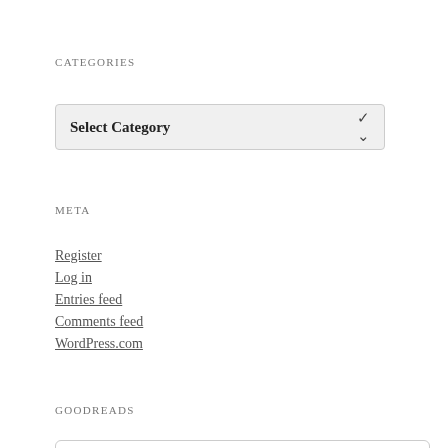CATEGORIES
Select Category
META
Register
Log in
Entries feed
Comments feed
WordPress.com
GOODREADS